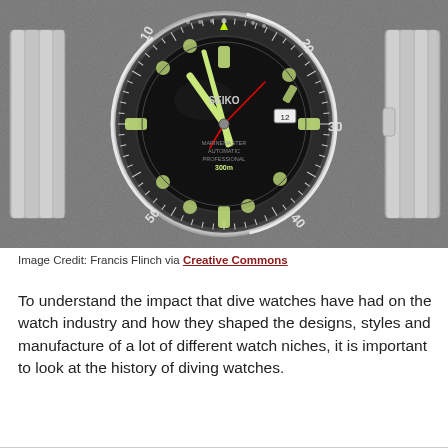[Figure (photo): Close-up photograph of a Seiko automatic diver's watch with a black bezel marked with minute indices (10, 20, 30, 40, 50), luminous hour markers, and a stainless steel bracelet, resting on a gray surface.]
Image Credit: Francis Flinch via Creative Commons
To understand the impact that dive watches have had on the watch industry and how they shaped the designs, styles and manufacture of a lot of different watch niches, it is important to look at the history of diving watches.